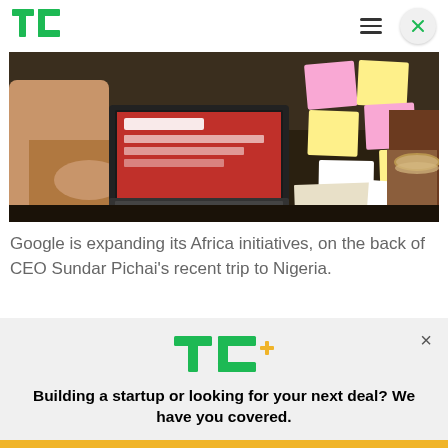TechCrunch logo and navigation header
[Figure (photo): People sitting around a table with a laptop showing a red presentation slide, with sticky notes (pink, yellow, white) scattered on the table. Appears to be a workshop or startup event in Africa.]
Google is expanding its Africa initiatives, on the back of CEO Sundar Pichai's recent trip to Nigeria.
[Figure (infographic): TechCrunch+ promotional banner with TC+ logo in green and gold. Text: Building a startup or looking for your next deal? We have you covered. Button: EXPLORE NOW]
Building a startup or looking for your next deal? We have you covered.
EXPLORE NOW